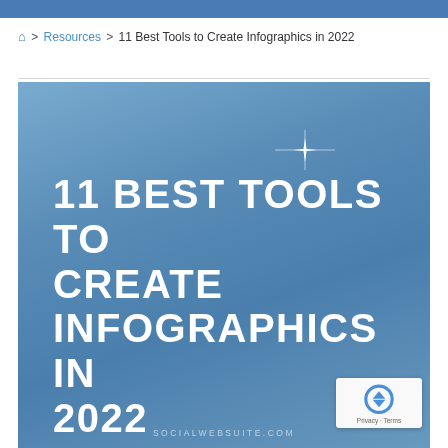🏠 > Resources > 11 Best Tools to Create Infographics in 2022
[Figure (infographic): Blue gradient infographic cover image showing the text '11 BEST TOOLS TO CREATE INFOGRAPHICS IN 2022' in large white bold uppercase letters with a sparkle/star decorative element and 'SOCIALWEBSUITE.COM' watermark at the bottom]